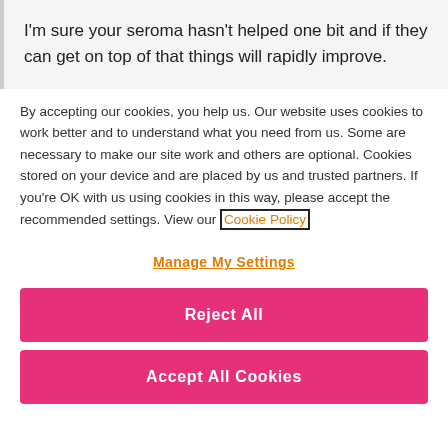I'm sure your seroma hasn't helped one bit and if they can get on top of that things will rapidly improve.
By accepting our cookies, you help us. Our website uses cookies to work better and to understand what you need from us. Some are necessary to make our site work and others are optional. Cookies stored on your device and are placed by us and trusted partners. If you're OK with us using cookies in this way, please accept the recommended settings. View our Cookie Policy
Manage My Settings
Reject All
Accept All Cookies